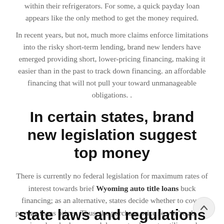within their refrigerators. For some, a quick payday loan appears like the only method to get the money required.
In recent years, but not, much more claims enforce limitations into the risky short-term lending, brand new lenders have emerged providing short, lower-pricing financing, making it easier than in the past to track down financing. an affordable financing that will not pull your toward unmanageable obligations. .
In certain states, brand new legislation suggest top money
There is currently no federal legislation for maximum rates of interest towards brief Wyoming auto title loans buck financing; as an alternative, states decide whether to cover payday loans prices. Thus, the purchase price so you're able to acquire a hundred or so cash have a tendency to utilizes where you live.
state laws and regulations